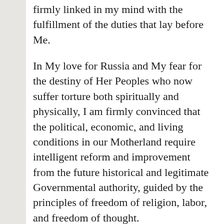firmly linked in my mind with the fulfillment of the duties that lay before Me.
In My love for Russia and My fear for the destiny of Her Peoples who now suffer torture both spiritually and physically, I am firmly convinced that the political, economic, and living conditions in our Motherland require intelligent reform and improvement from the future historical and legitimate Governmental authority, guided by the principles of freedom of religion, labor, and freedom of thought.
Being fully at one with the thoughts, precepts, and guidance of my beloved Imperial Parents, and confident of the active support of My August Husband, I consider it useful to hear views, balanced, well-grounded, and in accord with the basic principles stated above, not only of people made wise by their life-long